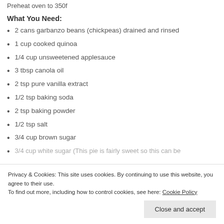Preheat oven to 350f
What You Need:
2 cans garbanzo beans (chickpeas) drained and rinsed
1 cup cooked quinoa
1/4 cup unsweetened applesauce
3 tbsp canola oil
2 tsp pure vanilla extract
1/2 tsp baking soda
2 tsp baking powder
1/2 tsp salt
3/4 cup brown sugar
3/4 cup white sugar (This pie is fairly sweet so this can be...
Privacy & Cookies: This site uses cookies. By continuing to use this website, you agree to their use. To find out more, including how to control cookies, see here: Cookie Policy